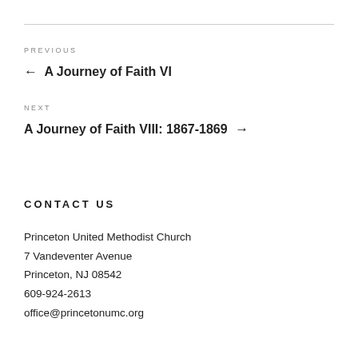PREVIOUS
← A Journey of Faith VI
NEXT
A Journey of Faith VIII: 1867-1869 →
CONTACT US
Princeton United Methodist Church
7 Vandeventer Avenue
Princeton, NJ 08542
609-924-2613
office@princetonumc.org